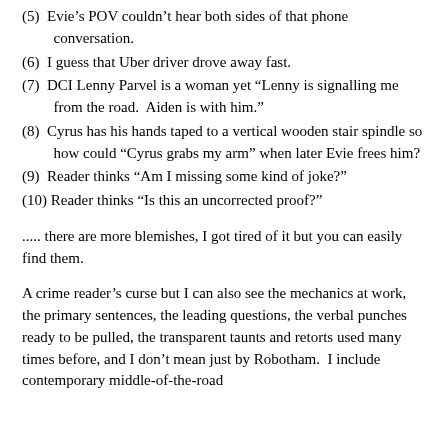(5)  Evie's POV couldn't hear both sides of that phone conversation.
(6)  I guess that Uber driver drove away fast.
(7)  DCI Lenny Parvel is a woman yet “Lenny is signalling me from the road.  Aiden is with him.”
(8)  Cyrus has his hands taped to a vertical wooden stair spindle so how could “Cyrus grabs my arm” when later Evie frees him?
(9)  Reader thinks “Am I missing some kind of joke?”
(10) Reader thinks “Is this an uncorrected proof?”
..... there are more blemishes, I got tired of it but you can easily find them.
A crime reader’s curse but I can also see the mechanics at work, the primary sentences, the leading questions, the verbal punches ready to be pulled, the transparent taunts and retorts used many times before, and I don’t mean just by Robotham.  I include contemporary middle-of-the-road